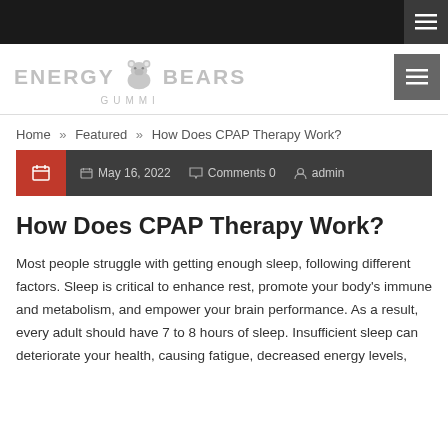[Figure (logo): Energy Bears Gummi logo with bear icon in grey/light color]
Home » Featured » How Does CPAP Therapy Work?
May 16, 2022   Comments 0   admin
How Does CPAP Therapy Work?
Most people struggle with getting enough sleep, following different factors. Sleep is critical to enhance rest, promote your body's immune and metabolism, and empower your brain performance. As a result, every adult should have 7 to 8 hours of sleep. Insufficient sleep can deteriorate your health, causing fatigue, decreased energy levels,